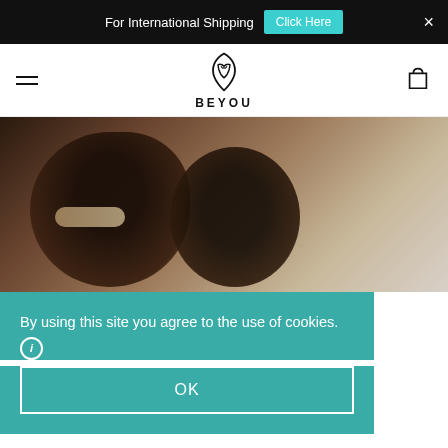For International Shipping   Click Here   ×
[Figure (logo): BEYOU brand logo with stylized leaf/shield icon and text BEYOU]
[Figure (photo): Two Black individuals lying on a bed smiling and looking at each other intimately]
By using this site you agree to the use of cookies. ℹ
OK
Everything you need to know about